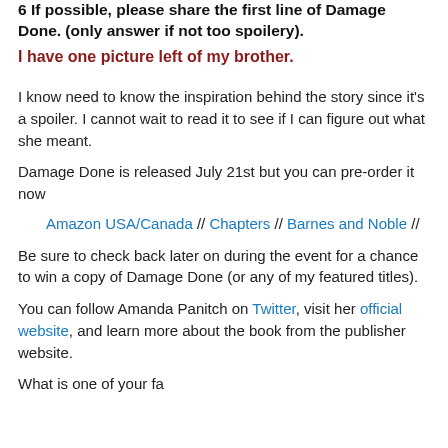6 If possible, please share the first line of Damage Done. (only answer if not too spoilery).
I have one picture left of my brother.
I know need to know the inspiration behind the story since it's a spoiler. I cannot wait to read it to see if I can figure out what she meant.
Damage Done is released July 21st but you can pre-order it now
Amazon USA/Canada // Chapters // Barnes and Noble //
Be sure to check back later on during the event for a chance to win a copy of Damage Done (or any of my featured titles).
You can follow Amanda Panitch on Twitter, visit her official website, and learn more about the book from the publisher website.
What is one of your titles that interests me? Let me know in